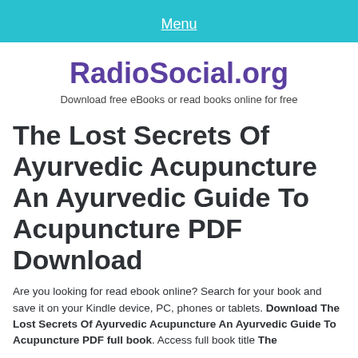Menu
RadioSocial.org
Download free eBooks or read books online for free
The Lost Secrets Of Ayurvedic Acupuncture An Ayurvedic Guide To Acupuncture PDF Download
Are you looking for read ebook online? Search for your book and save it on your Kindle device, PC, phones or tablets. Download The Lost Secrets Of Ayurvedic Acupuncture An Ayurvedic Guide To Acupuncture PDF full book. Access full book title The